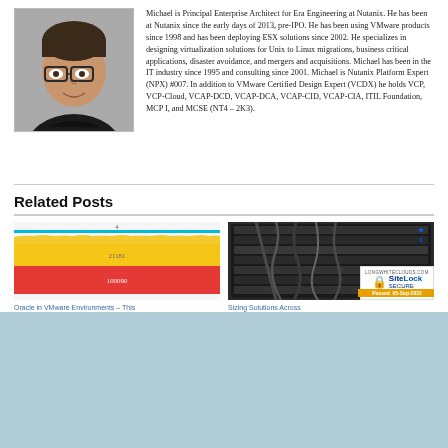[Figure (photo): Headshot photo of Michael, a man wearing glasses and a black shirt]
Michael is Principal Enterprise Architect for Era Engineering at Nutanix. He has been at Nutanix since the early days of 2013, pre-IPO. He has been using VMware products since 1998 and has been deploying ESX solutions since 2002. He specializes in designing virtualization solutions for Unix to Linux migrations, business critical applications, disaster avoidance, and mergers and acquisitions. Michael has been in the IT industry since 1995 and consulting since 2001. Michael is Nutanix Platform Expert (NPX) #007. In addition to VMware Certified Design Expert (VCDX) he holds VCP, VCP-Cloud, VCAP-DCD, VCAP-DCA, VCAP-CID, VCAP-CIA, ITIL Foundation, MCP I, and MCSE (NT4 – 2K3).
Related Posts
[Figure (screenshot): Screenshot of Oracle in VMware Environments chart showing area chart with yellow and red bands]
Oracle in VMware Environments – This
[Figure (photo): Photo of a server rack with cables; SiteLock SECURE badge overlay]
Sizing Solutions Across